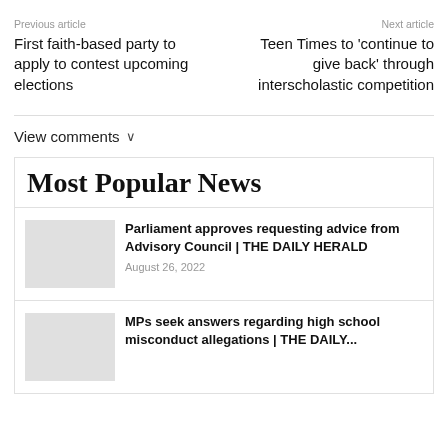Previous article
Next article
First faith-based party to apply to contest upcoming elections
Teen Times to 'continue to give back' through interscholastic competition
View comments ∨
Most Popular News
Parliament approves requesting advice from Advisory Council | THE DAILY HERALD
August 26, 2022
MPs seek answers regarding high school misconduct allegations | THE DAILY...